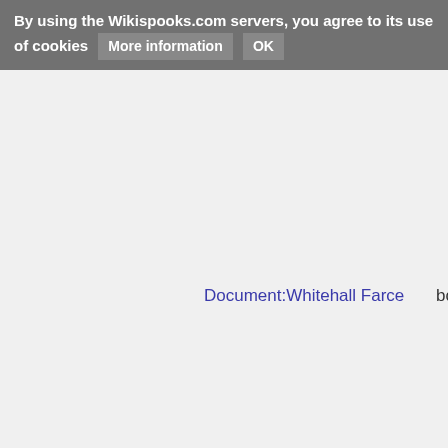By using the Wikispooks.com servers, you agree to its use of cookies   More information   OK
Document:Whitehall Farce
book review